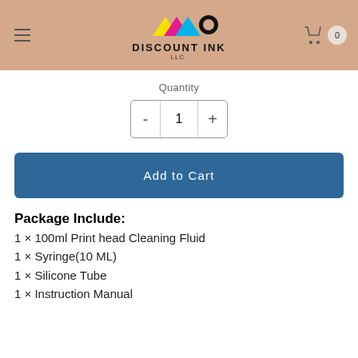DISCOUNT INK LLC.
Quantity
- 1 +
Add to Cart
Package Include:
1 × 100ml Print head Cleaning Fluid
1 × Syringe(10 ML)
1 × Silicone Tube
1 × Instruction Manual